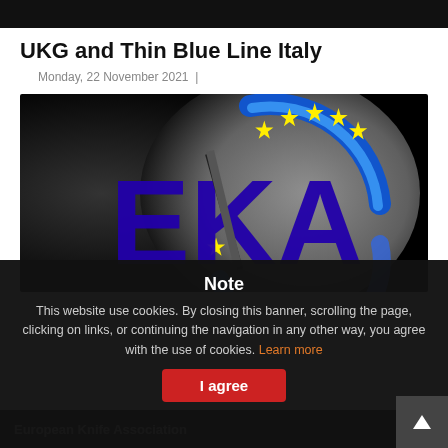UKG and Thin Blue Line Italy
Monday, 22 November 2021  |
[Figure (logo): EKA (European Knife Association) logo on a dark background with gradient. Blue arc swoosh, yellow stars arranged in a circle like the EU flag stars, large dark blue letters EKA.]
Note
This website use cookies. By closing this banner, scrolling the page, clicking on links, or continuing the navigation in any other way, you agree with the use of cookies. Learn more
I agree
European Knife Association